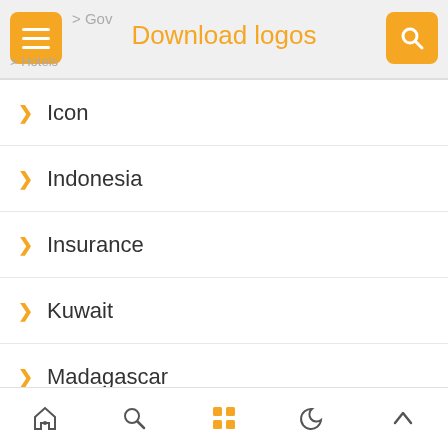Download logos
> Gov
> Hotels
> Icon
> Indonesia
> Insurance
> Kuwait
> Madagascar
> Malaysia
> Media
> Medical
> Mexico
> Ministry of Health